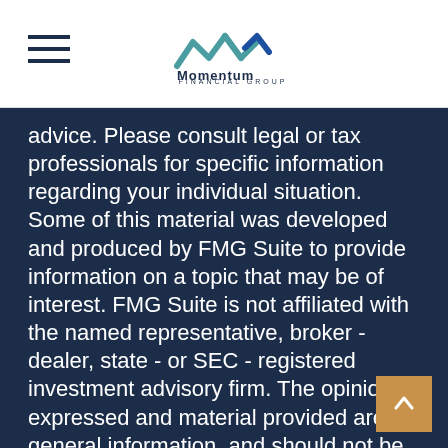[Figure (logo): Momentum Financial Group logo with mountain/arrow graphic marks above the text]
advice. Please consult legal or tax professionals for specific information regarding your individual situation. Some of this material was developed and produced by FMG Suite to provide information on a topic that may be of interest. FMG Suite is not affiliated with the named representative, broker - dealer, state - or SEC - registered investment advisory firm. The opinions expressed and material provided are for general information, and should not be considered a solicitation for the purchase or sale of any security.
We take protecting your data and privacy very seriously. As of January 1, 2020 the California Consumer Privacy Act (CCPA) suggests the